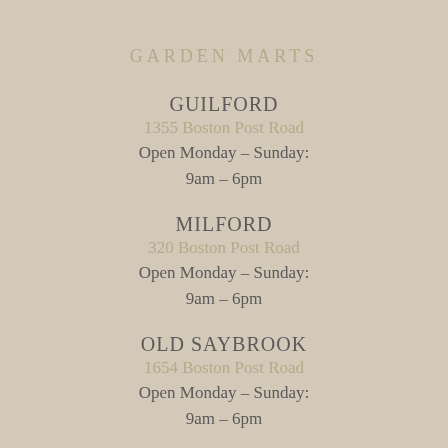GARDEN MARTS
GUILFORD
1355 Boston Post Road
Open Monday – Sunday:
9am – 6pm
MILFORD
320 Boston Post Road
Open Monday – Sunday:
9am – 6pm
OLD SAYBROOK
1654 Boston Post Road
Open Monday – Sunday:
9am – 6pm